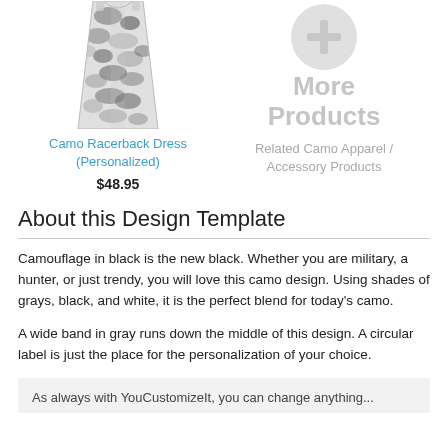[Figure (photo): Camo racerback dress product image showing a sleeveless dress with black/white/gray camouflage pattern]
Camo Racerback Dress (Personalized)
$48.95
[Figure (illustration): Gray circular plus/add icon for More Products]
More Products
Related Camo Apparel / Accessory Products
About this Design Template
Camouflage in black is the new black. Whether you are military, a hunter, or just trendy, you will love this camo design. Using shades of grays, black, and white, it is the perfect blend for today's camo.
A wide band in gray runs down the middle of this design. A circular label is just the place for the personalization of your choice.
As always with YouCustomizeIt, you can change anything...